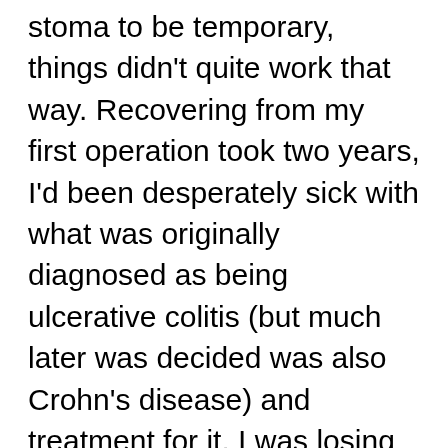stoma to be temporary, things didn't quite work that way. Recovering from my first operation took two years, I'd been desperately sick with what was originally diagnosed as being ulcerative colitis (but much later was decided was also Crohn's disease) and treatment for it. I was losing so much blood daily, rarely left the house and generally felt as if I was barely existing rather than living. Surgery had been described as a last resort but suddenly we were there, in the day room of the gastro surgical ward of my local DGH, sitting across from my lovely surgeon